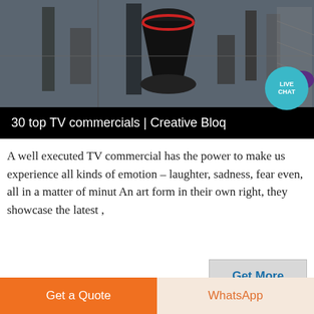[Figure (photo): Industrial machinery/equipment photo with dark tones, showing large mechanical structures]
30 top TV commercials | Creative Bloq
A well executed TV commercial has the power to make us experience all kinds of emotion – laughter, sadness, fear even, all in a matter of minut An art form in their own right, they showcase the latest ,
[Figure (photo): Black and white photo of what appears to be vehicle interiors or seating]
Get a Quote
WhatsApp